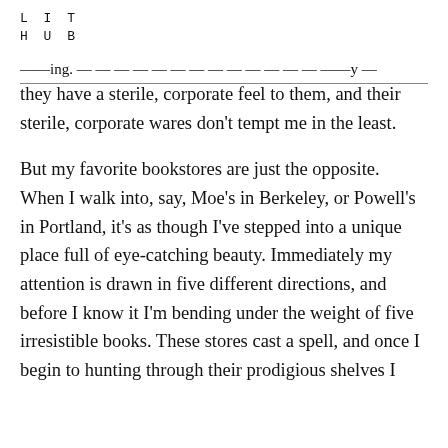L I T
H U B
——ing. — — — — — — — — — — — — — ——y —
they have a sterile, corporate feel to them, and their sterile, corporate wares don't tempt me in the least.

But my favorite bookstores are just the opposite. When I walk into, say, Moe's in Berkeley, or Powell's in Portland, it's as though I've stepped into a unique place full of eye-catching beauty. Immediately my attention is drawn in five different directions, and before I know it I'm bending under the weight of five irresistible books. These stores cast a spell, and once I begin to hunting through their prodigious shelves I